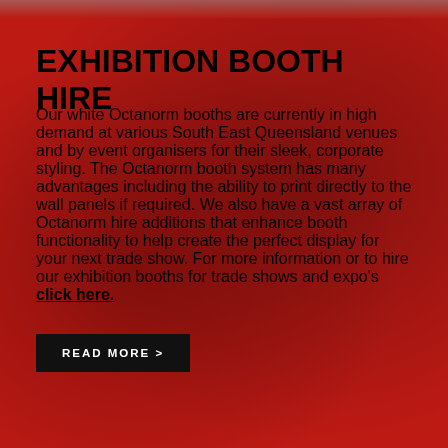EXHIBITION BOOTH HIRE
Our white Octanorm booths are currently in high demand at various South East Queensland venues and by event organisers for their sleek, corporate styling. The Octanorm booth system has many advantages including the ability to print directly to the wall panels if required. We also have a vast array of Octanorm hire additions that enhance booth functionality to help create the perfect display for your next trade show. For more information or to hire our exhibition booths for trade shows and expo's click here.
READ MORE >
[Figure (photo): Bottom strip of photos showing exhibition/trade show equipment and outdoor scene with cranes and greenery]